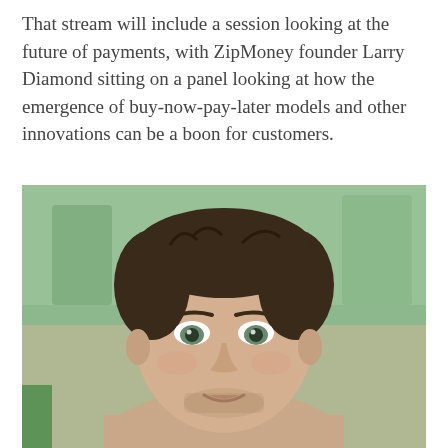That stream will include a session looking at the future of payments, with ZipMoney founder Larry Diamond sitting on a panel looking at how the emergence of buy-now-pay-later models and other innovations can be a boon for customers.
[Figure (photo): Headshot photo of a young man with short brown hair and light eyes, smiling, with a blurred green office background]